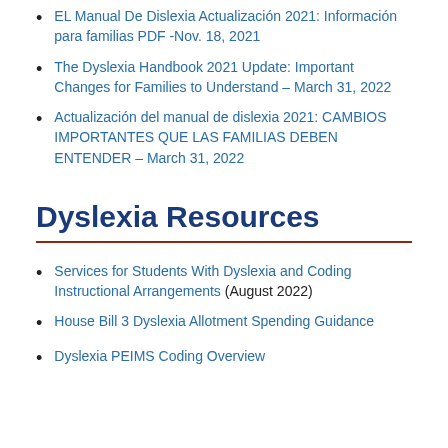EL Manual De Dislexia Actualización 2021: Información para familias PDF -Nov. 18, 2021
The Dyslexia Handbook 2021 Update: Important Changes for Families to Understand – March 31, 2022
Actualización del manual de dislexia 2021: CAMBIOS IMPORTANTES QUE LAS FAMILIAS DEBEN ENTENDER – March 31, 2022
Dyslexia Resources
Services for Students With Dyslexia and Coding Instructional Arrangements (August 2022)
House Bill 3 Dyslexia Allotment Spending Guidance
Dyslexia PEIMS Coding Overview